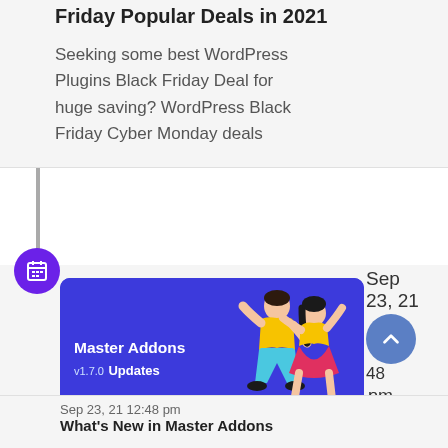Friday Popular Deals in 2021
Seeking some best WordPress Plugins Black Friday Deal for huge saving? WordPress Black Friday Cyber Monday deals
[Figure (illustration): Master Addons v1.7.0 Updates banner with two dancing figures on blue/purple background]
Sep 23, 21 12:48 pm
What's New in Master Addons